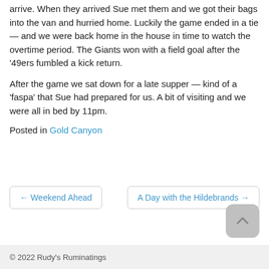arrive. When they arrived Sue met them and we got their bags into the van and hurried home. Luckily the game ended in a tie — and we were back home in the house in time to watch the overtime period. The Giants won with a field goal after the '49ers fumbled a kick return.
After the game we sat down for a late supper — kind of a 'faspa' that Sue had prepared for us. A bit of visiting and we were all in bed by 11pm.
Posted in Gold Canyon
← Weekend Ahead
A Day with the Hildebrands →
© 2022 Rudy's Ruminatings